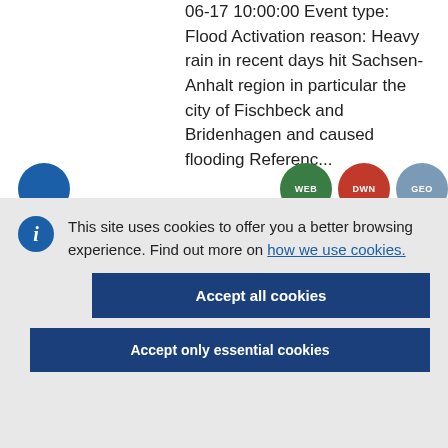06-17 10:00:00 Event type: Flood Activation reason: Heavy rain in recent days hit Sachsen-Anhalt region in particular the city of Fischbeck and Bridenhagen and caused flooding Referenc...
This site uses cookies to offer you a better browsing experience. Find out more on how we use cookies.
Accept all cookies
Accept only essential cookies